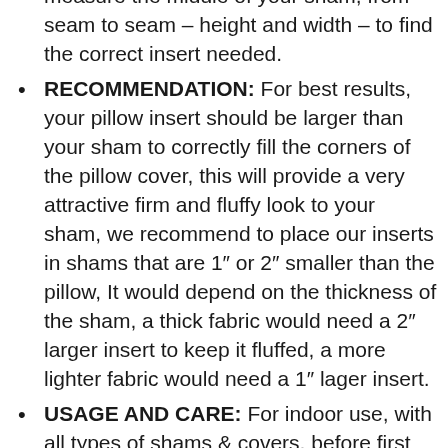measure the middle of your sham, from seam to seam – height and width – to find the correct insert needed.
RECOMMENDATION: For best results, your pillow insert should be larger than your sham to correctly fill the corners of the pillow cover, this will provide a very attractive firm and fluffy look to your sham, we recommend to place our inserts in shams that are 1″ or 2″ smaller than the pillow, It would depend on the thickness of the sham, a thick fabric would need a 2″ larger insert to keep it fluffed, a more lighter fabric would need a 1″ lager insert.
USAGE AND CARE: For indoor use, with all types of shams & covers, before first use, and as needed, fluff up your